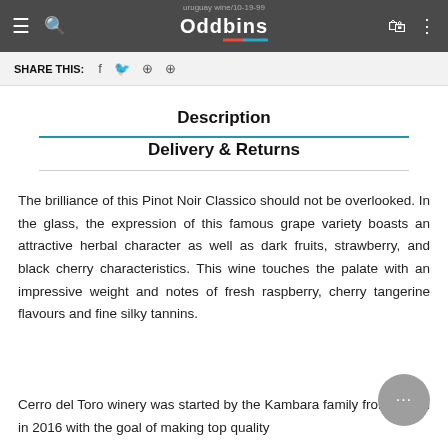Oddbins — uruguay wine 10-19-99
SHARE THIS:
Description
Delivery & Returns
The brilliance of this Pinot Noir Classico should not be overlooked. In the glass, the expression of this famous grape variety boasts an attractive herbal character as well as dark fruits, strawberry, and black cherry characteristics. This wine touches the palate with an impressive weight and notes of fresh raspberry, cherry tangerine flavours and fine silky tannins.
Cerro del Toro winery was started by the Kambara family from Japan in 2016 with the goal of making top quality